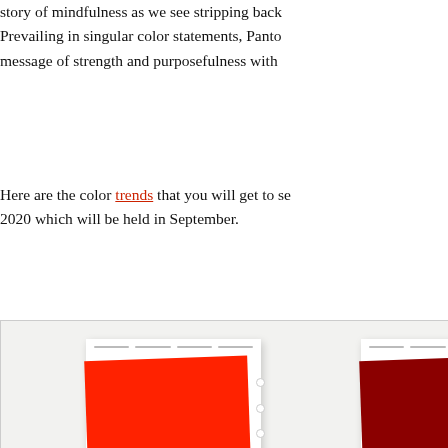story of mindfulness as we see stripping back... Prevailing in singular color statements, Pantone... message of strength and purposefulness with...
Here are the color trends that you will get to see... 2020 which will be held in September.
[Figure (illustration): Three Pantone color swatches: PANTONE 17-1662 Mandarin Red (bright red), PANTONE 19-1662 Samba (dark red), and a third blue swatch partially visible. Each shown as a tilted fabric swatch card with perforated right edge.]
Mandarin Red: An amplified and provocative o... Mandarin Red is a dynamic force.
Samba: A voluptuous sultry red, Samba introdu...
True Blue: A definitive and reliable blue hue, Tr... faithf...